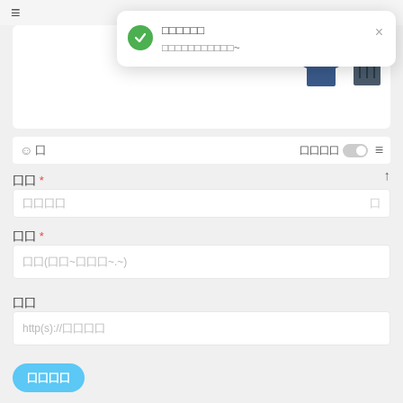[Figure (screenshot): Mobile app UI screenshot showing a form with a success toast notification overlay. The toast shows a green checkmark icon with Chinese characters for title and subtitle. Below are form fields for title, price, and link, with a submit button.]
☰
□□□□□□
□□□□□□□□□□□~
× (close)
☺ 囗
囗囗囗囗
↑
囗囗 *
囗囗囗囗
囗囗 *
囗囗(囗囗~囗囗囗~.~)
囗囗
http(s)://囗囗囗囗
囗囗囗囗